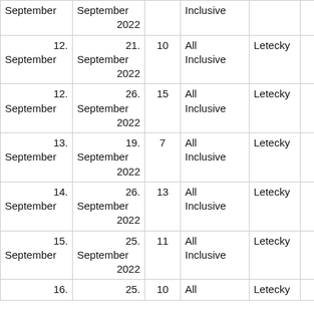| From | To | Days | Board | Transport | Price |  |
| --- | --- | --- | --- | --- | --- | --- |
| September | September 2022 |  | Inclusive | Letecky |  | Vybrat |
| 12. September | 21. September 2022 | 10 | All Inclusive | Letecky | 2232€ | Vybrat |
| 12. September | 26. September 2022 | 15 | All Inclusive | Letecky | 2742€ | Vybrat |
| 13. September | 19. September 2022 | 7 | All Inclusive | Letecky | 1802€ | Vybrat |
| 14. September | 26. September 2022 | 13 | All Inclusive | Letecky | 2440€ | Vybrat |
| 15. September | 25. September 2022 | 11 | All Inclusive | Letecky | 2206€ | Vybrat |
| 16. | 25. | 10 | All | Letecky | 2596€ | Vybrat |